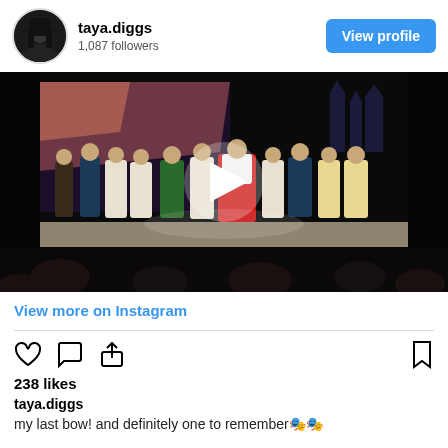[Figure (screenshot): Instagram profile header with avatar of taya.diggs (1,087 followers) and a blue 'View profile' button]
[Figure (photo): A theatrical stage performance with actors in period costumes taking a bow, dimly lit audience in foreground, a white play button triangle overlay in the center indicating a video]
View more on Instagram
[Figure (infographic): Instagram action icons: heart (like), speech bubble (comment), share arrow on left; bookmark icon on right]
238 likes
taya.diggs
my last bow! and definitely one to remember🎭🎭